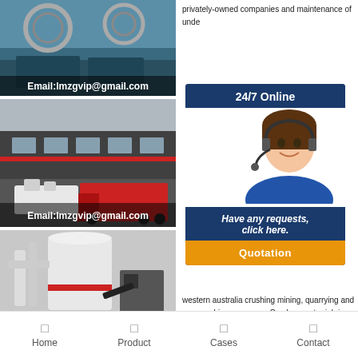[Figure (photo): Industrial mining/crushing machinery equipment photo with email overlay]
Email:lmzgvip@gmail.com
[Figure (photo): Industrial building exterior with red truck and white crushing machinery loaded for transport]
Email:lmzgvip@gmail.com
[Figure (photo): White industrial grinding/milling machine with pipes]
privately-owned companies and maintenance of unde...
[Figure (other): 24/7 Online chat widget with female agent wearing headset, 'Have any requests, click here.' message and Quotation button]
western australia crushing mining, quarrying and was crushing companys Crush operator job in perth,. Get crushers companys We m...
Home   Product   Cases   Contact